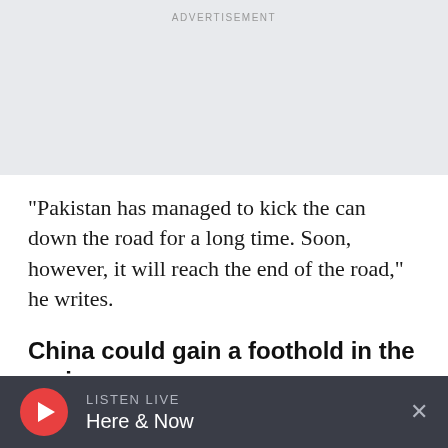ADVERTISEMENT
"Pakistan has managed to kick the can down the road for a long time. Soon, however, it will reach the end of the road," he writes.
China could gain a foothold in the region
While the Taliban's brutal tactics on the ground in Afghanistan seem to have changed little since
LISTEN LIVE Here & Now